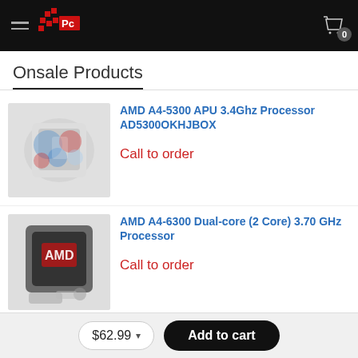[Figure (logo): PC store logo with red pixel-art graphic and 'Pc' text on black header bar with hamburger menu and cart icon showing badge 0]
Onsale Products
AMD A4-5300 APU 3.4Ghz Processor AD5300OKHJBOX
Call to order
AMD A4-6300 Dual-core (2 Core) 3.70 GHz Processor
Call to order
$62.99  Add to cart